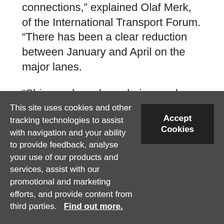connections,” explained Olaf Merk, of the International Transport Forum. “There has been a clear reduction between January and April on the major lanes.
“Shippers have less choice, and there is less service frequency. Weekly Asia-EU, for example, has gone down. That leads to more peaks and troughs in terminals. Sometimes they are used intensively, other times they are under-used.”
This site uses cookies and other tracking technologies to assist with navigation and your ability to provide feedback, analyse your use of our products and services, assist with our promotional and marketing efforts, and provide content from third parties.   Find out more.